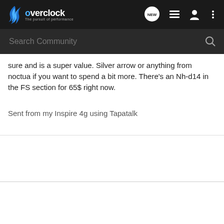overclock - The pursuit of performance
sure and is a super value. Silver arrow or anything from noctua if you want to spend a bit more. There's an Nh-d14 in the FS section for 65$ right now.
Sent from my Inspire 4g using Tapatalk
Be Excellent To Each Other.
King Who Dat · Washed Up Old Gamer
Joined Jun 9, 2011 · 4,694 Posts